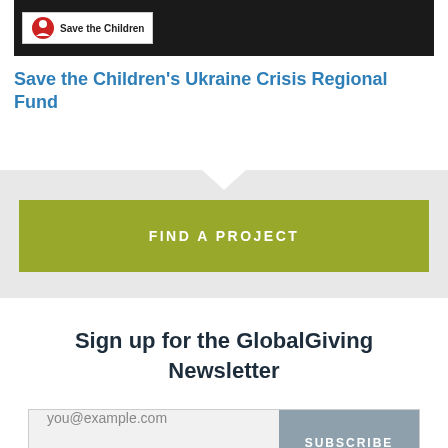[Figure (logo): Save the Children logo with red circle/child icon and text in white box on dark background]
Save the Children's Ukraine Crisis Regional Fund
FIND A PROJECT
Sign up for the GlobalGiving Newsletter
you@example.com
SUBSCRIBE